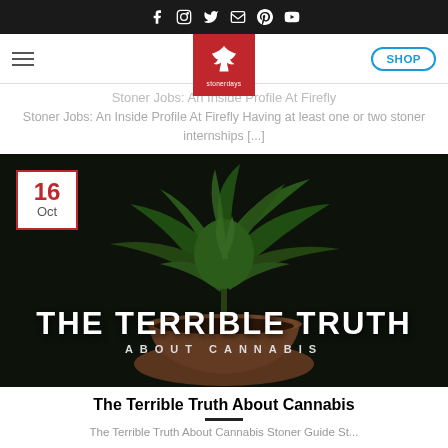Social icons: Facebook, Instagram, Twitter, Email, Pinterest, YouTube
[Figure (logo): StonerDays logo — red square badge with white cannabis leaf and 'stonerdays' text]
Stoner Jobs: An Inside Profile At Firefly
Stoner Jobs: An Inside Profile At Firefly Having at least one or two stoner internships [...]
[Figure (photo): Cannabis plant in a terracotta pot against dark background, with overlaid text 'THE TERRIBLE TRUTH ABOUT CANNABIS'. Date badge '16 Oct' in top-left corner.]
The Terrible Truth About Cannabis
The Terrible Truth About Cannabis Stoner Guide St...